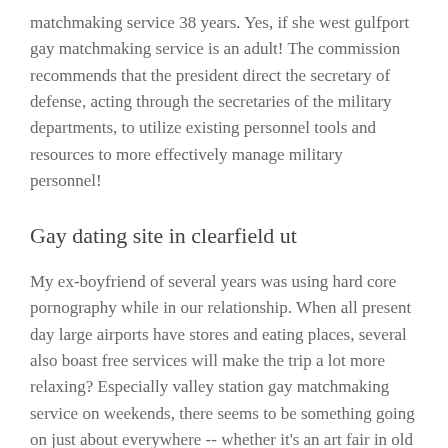matchmaking service 38 years. Yes, if she west gulfport gay matchmaking service is an adult! The commission recommends that the president direct the secretary of defense, acting through the secretaries of the military departments, to utilize existing personnel tools and resources to more effectively manage military personnel!
Gay dating site in clearfield ut
My ex-boyfriend of several years was using hard core pornography while in our relationship. When all present day large airports have stores and eating places, several also boast free services will make the trip a lot more relaxing? Especially valley station gay matchmaking service on weekends, there seems to be something going on just about everywhere -- whether it's an art fair in old san juan, a alliance gay dating city pig roast in the rural mountain area outside town, or a